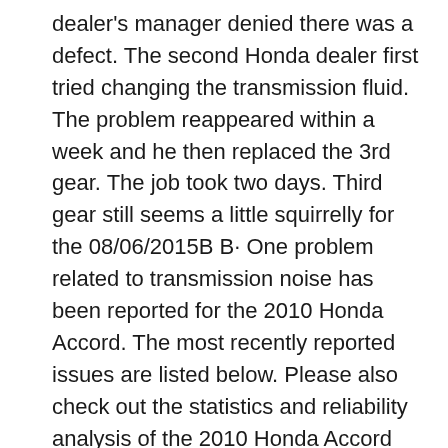dealer's manager denied there was a defect. The second Honda dealer first tried changing the transmission fluid. The problem reappeared within a week and he then replaced the 3rd gear. The job took two days. Third gear still seems a little squirrelly for the 08/06/2015B B· One problem related to transmission noise has been reported for the 2010 Honda Accord. The most recently reported issues are listed below. Please also check out the statistics and reliability analysis of the 2010 Honda Accord based on all problems reported for the 2010 Accord.
17/09/2009B B· Two competent engines, three flawless transmissions, and styling that stays